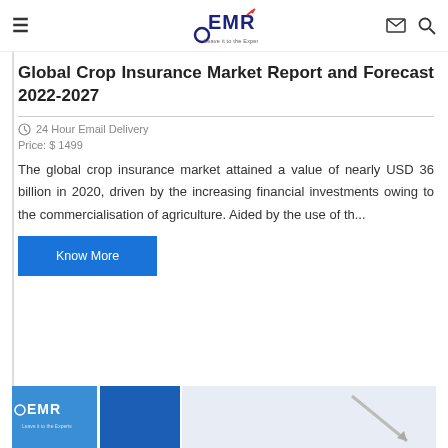EMR — Leave it to the Experts (navigation bar with hamburger menu, logo, email icon, search icon)
Global Crop Insurance Market Report and Forecast 2022-2027
24 Hour Email Delivery
Price: $ 1499
The global crop insurance market attained a value of nearly USD 36 billion in 2020, driven by the increasing financial investments owing to the commercialisation of agriculture. Aided by the use of th...
Know More
[Figure (photo): Bottom strip showing EMR branded image with logo and blue design elements]